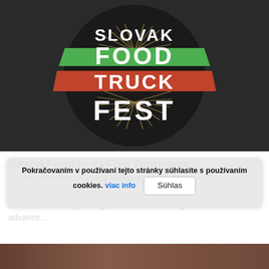[Figure (logo): Slovak Food Truck Fest logo — white bold text on dark circular background, with green banner behind FOOD and red-orange banner behind TRUCK]
SlovakFoodTruckFest Bratislava
Eurovea, Pribinova, Ružinov, Slovakia
15.09.2022 - 18.09.2022
This is a nationally touring event worth knowing about some time in advance...
Pokračovaním v používaní tejto stránky súhlasíte s používaním cookies. viac info | Súhlas
[Figure (photo): Partial bottom photo of food or people at festival, cropped at bottom of page]